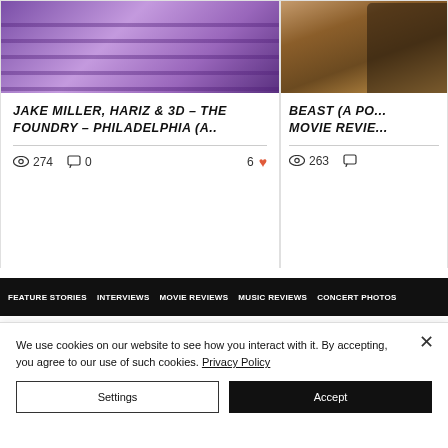[Figure (photo): Concert/music photo with purple lighting tones - Jake Miller, Hariz & 3D performance]
JAKE MILLER, HARIZ & 3D – THE FOUNDRY – PHILADELPHIA (A..
274 views  0 comments  6 likes
[Figure (photo): Movie still with dark warm tones - Beast movie review]
BEAST (A PO... MOVIE REVIE...
263 views
FEATURE STORIES  INTERVIEWS  MOVIE REVIEWS  MUSIC REVIEWS  CONCERT PHOTOS
We use cookies on our website to see how you interact with it. By accepting, you agree to our use of such cookies. Privacy Policy
Settings  Accept